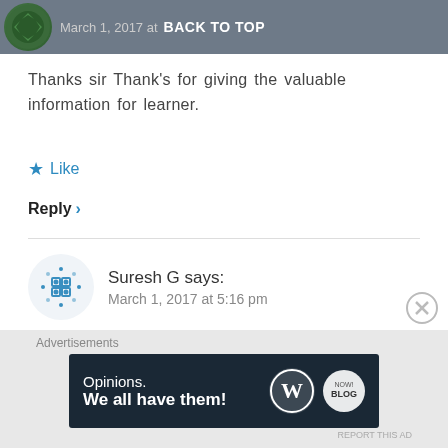March 1, 2017 at  BACK TO TOP
Thanks sir Thank's for giving the valuable information for learner.
★ Like
Reply ›
Suresh G says:
March 1, 2017 at 5:16 pm
Good one, Mr.Vinit
[Figure (other): Advertisement banner: Opinions. We all have them! with WordPress and another logo]
Advertisements
REPORT THIS AD